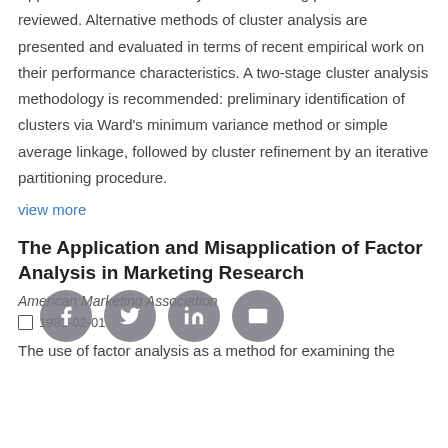1983-05-01
Applications of cluster analysis to marketing problems are reviewed. Alternative methods of cluster analysis are presented and evaluated in terms of recent empirical work on their performance characteristics. A two-stage cluster analysis methodology is recommended: preliminary identification of clusters via Ward's minimum variance method or simple average linkage, followed by cluster refinement by an iterative partitioning procedure.
view more
The Application and Misapplication of Factor Analysis in Marketing Research
American Marketing Association
1981-02-01
The use of factor analysis as a method for examining the